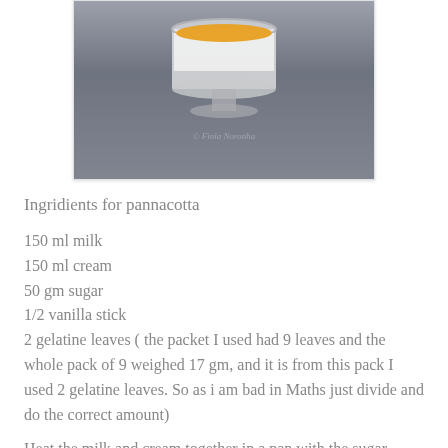[Figure (photo): A photo of a pannacotta dessert in a glass cup on a dark slate background, with watermark '© Finla Noronha']
Ingridients for pannacotta
150 ml milk
150 ml cream
50 gm sugar
1/2 vanilla stick
2 gelatine leaves ( the packet I used had 9 leaves and the whole pack of 9 weighed 17 gm, and it is from this pack I used 2 gelatine leaves. So as i am bad in Maths just divide and do the correct amount)
Heat the milk and cream together in a pan with the sugar